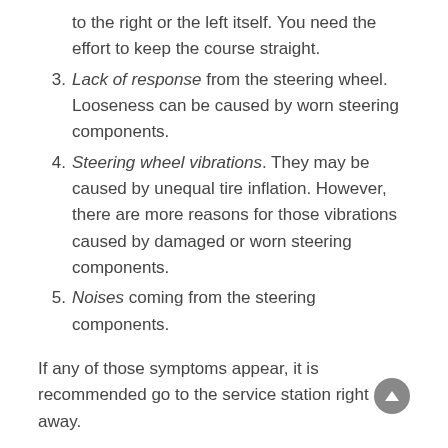to the right or the left itself. You need the effort to keep the course straight.
3. Lack of response from the steering wheel. Looseness can be caused by worn steering components.
4. Steering wheel vibrations. They may be caused by unequal tire inflation. However, there are more reasons for those vibrations caused by damaged or worn steering components.
5. Noises coming from the steering components.
If any of those symptoms appear, it is recommended go to the service station right away.
Why us?
You can find all you need for your brake or steering systems. Here you can find products manufactured by